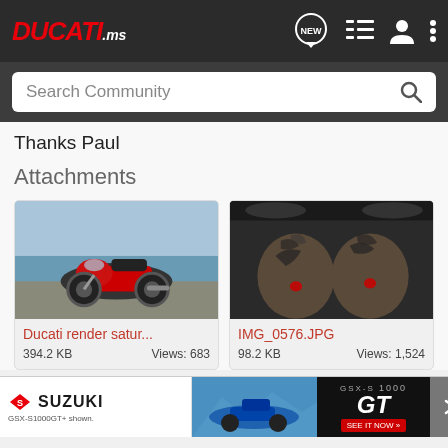DUCATI.ms
Search Community
Thanks Paul
Attachments
[Figure (photo): Red Ducati motorcycle parked near waterfront]
Ducati render satur...
394.2 KB   Views: 683
[Figure (photo): Close-up of tattooed knees with red marks]
IMG_0576.JPG
98.2 KB   Views: 1,524
[Figure (infographic): Suzuki GSX-S1000 GT advertisement banner with text: SUZUKI, GSX-S1000GT+ shown., GSX-S 1000, GT, SEE IT NOW >>]